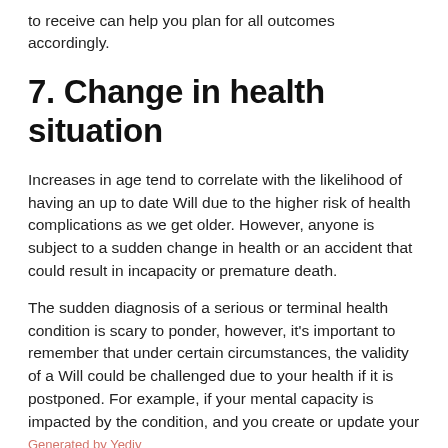to receive can help you plan for all outcomes accordingly.
7. Change in health situation
Increases in age tend to correlate with the likelihood of having an up to date Will due to the higher risk of health complications as we get older. However, anyone is subject to a sudden change in health or an accident that could result in incapacity or premature death.
The sudden diagnosis of a serious or terminal health condition is scary to ponder, however, it's important to remember that under certain circumstances, the validity of a Will could be challenged due to your health if it is postponed. For example, if your mental capacity is impacted by the condition, and you create or update your Will during this time, it may not be valid.